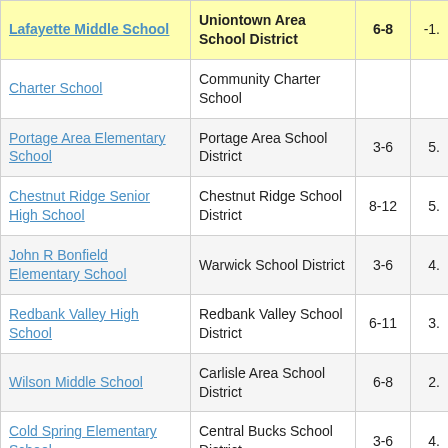| School | District | Grades | Value |
| --- | --- | --- | --- |
| Lafayette Middle School | Uniontown Area School District | 6-8 | -1. |
| Charter School | Community Charter School |  |  |
| Portage Area Elementary School | Portage Area School District | 3-6 | 5. |
| Chestnut Ridge Senior High School | Chestnut Ridge School District | 8-12 | 5. |
| John R Bonfield Elementary School | Warwick School District | 3-6 | 4. |
| Redbank Valley High School | Redbank Valley School District | 6-11 | 3. |
| Wilson Middle School | Carlisle Area School District | 6-8 | 2. |
| Cold Spring Elementary School | Central Bucks School District | 3-6 | 4. |
| Moshannon Valley | Moshannon Valley School | 3-6 | 4 |